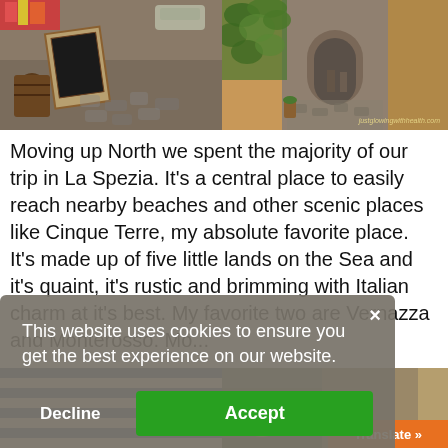[Figure (photo): Street market scene with barrels, framed artwork, cobblestone street and flower stalls]
[Figure (photo): Narrow Italian alleyway covered in ivy with cobblestone path, watermark: justglowingwithhealth.com]
Moving up North we spent the majority of our trip in La Spezia. It's a central place to easily reach nearby beaches and other scenic places like Cinque Terre, my absolute favorite place. It's made up of five little lands on the Sea and it's quaint, it's rustic and brimming with Italian charm at it's best. My favorite two are Vernazza and Monterosso. Mo...
[Figure (screenshot): Cookie consent dialog overlay: 'This website uses cookies to ensure you get the best experience on our website.' with Decline and Accept buttons]
[Figure (photo): Bottom left photo — striped blue/white pattern]
[Figure (photo): Bottom right photo — produce/fruit market, with orange Translate bar]